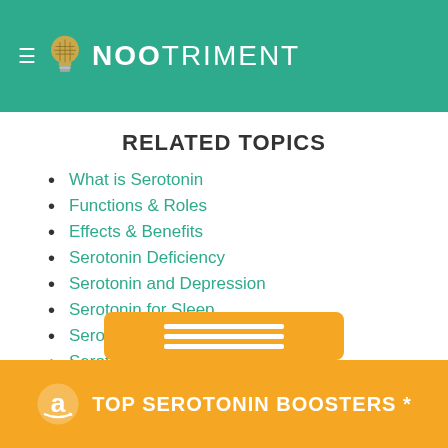NOOTRIMENT
RELATED TOPICS
What is Serotonin
Functions & Roles
Effects & Benefits
Serotonin Deficiency
Serotonin and Depression
Serotonin for Sleep
Serotonin and Anxiety
Serotonin for Weight Loss
Serotonin Boosters
How to Increase Serotonin
Best Food Sources
Natural Precursors
Su...
TOP SEROTONIN BOOSTERS *